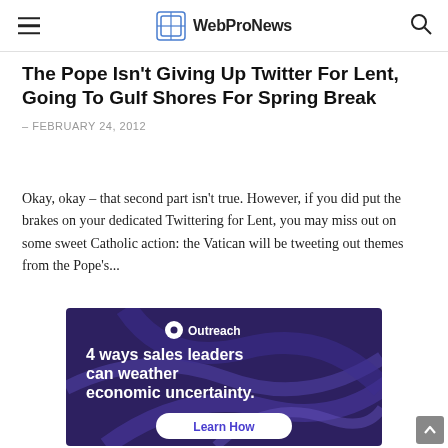WebProNews
The Pope Isn't Giving Up Twitter For Lent, Going To Gulf Shores For Spring Break
– FEBRUARY 24, 2012
Okay, okay – that second part isn't true. However, if you did put the brakes on your dedicated Twittering for Lent, you may miss out on some sweet Catholic action: the Vatican will be tweeting out themes from the Pope's...
[Figure (infographic): Outreach advertisement: '4 ways sales leaders can weather economic uncertainty.' with a Learn How button on a dark purple background with abstract curved lines.]